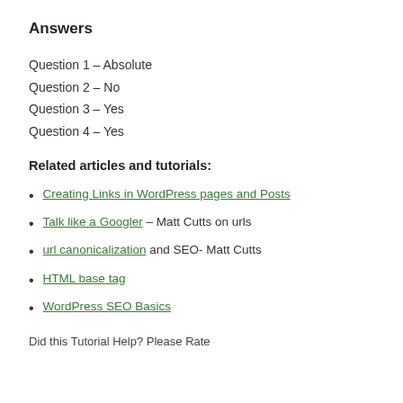Answers
Question 1 – Absolute
Question 2 – No
Question 3 – Yes
Question 4 – Yes
Related articles and tutorials:
Creating Links in WordPress pages and Posts
Talk like a Googler – Matt Cutts on urls
url canonicalization and SEO- Matt Cutts
HTML base tag
WordPress SEO Basics
Did this Tutorial Help? Please Rate